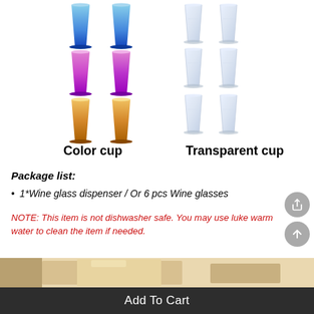[Figure (illustration): Two groups of shot glasses shown in a 2x3 grid arrangement. Left group shows colored cups: 2 blue on top row, 2 purple/magenta in middle, 2 amber/gold on bottom. Right group shows transparent cups: 6 clear glass shot cups in 2x3 grid.]
Color cup
Transparent cup
Package list:
1*Wine glass dispenser / Or 6 pcs Wine glasses
NOTE: This item is not dishwasher safe. You may use luke warm water to clean the item if needed.
[Figure (photo): Partial photo of wooden wine glass dispenser or box on a light background]
Add To Cart